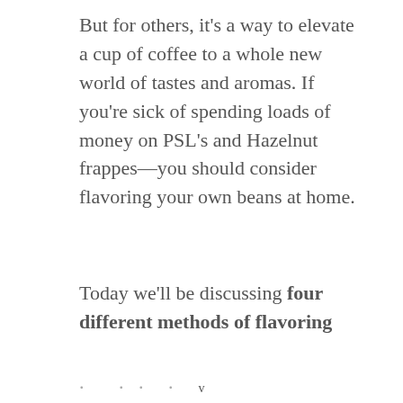But for others, it's a way to elevate a cup of coffee to a whole new world of tastes and aromas. If you're sick of spending loads of money on PSL's and Hazelnut frappes—you should consider flavoring your own beans at home.
Today we'll be discussing four different methods of flavoring